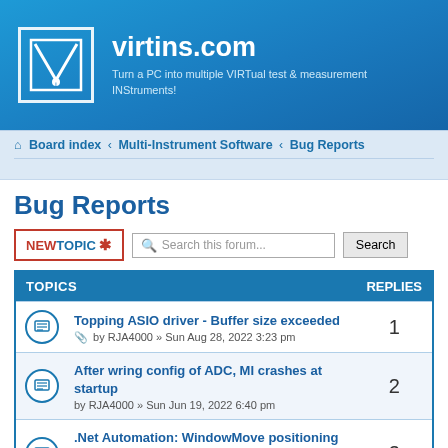[Figure (logo): virtins.com site header with logo and tagline]
Board index « Multi-Instrument Software « Bug Reports
Bug Reports
NEWTOPIC * | Search this forum... | Search
| TOPICS | REPLIES |
| --- | --- |
| Topping ASIO driver - Buffer size exceeded | by RJA4000 » Sun Aug 28, 2022 3:23 pm | 1 |
| After wring config of ADC, MI crashes at startup | by RJA4000 » Sun Jun 19, 2022 6:40 pm | 2 |
| .Net Automation: WindowMove positioning is strange | by RJA4000 » Wed Jun 01, 2022 1:55 pm | 3 |
| Open a file "without name" crasch the application | by gorhas » Tue May 24, 2022 7:37 pm | 1 |